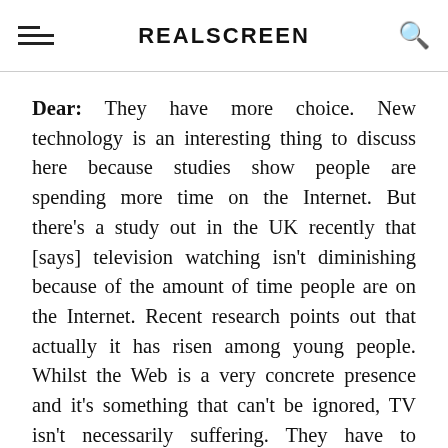REALSCREEN
Dear: They have more choice. New technology is an interesting thing to discuss here because studies show people are spending more time on the Internet. But there's a study out in the UK recently that [says] television watching isn't diminishing because of the amount of time people are on the Internet. Recent research points out that actually it has risen among young people. Whilst the Web is a very concrete presence and it's something that can't be ignored, TV isn't necessarily suffering. They have to compete more, absolutely, but